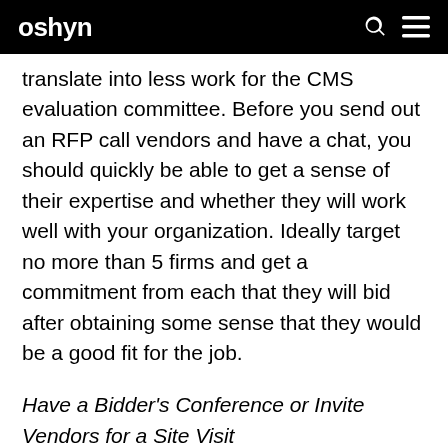oshyn
translate into less work for the CMS evaluation committee. Before you send out an RFP call vendors and have a chat, you should quickly be able to get a sense of their expertise and whether they will work well with your organization. Ideally target no more than 5 firms and get a commitment from each that they will bid after obtaining some sense that they would be a good fit for the job.
Have a Bidder's Conference or Invite Vendors for a Site Visit
Have a bidder's conference or invite the